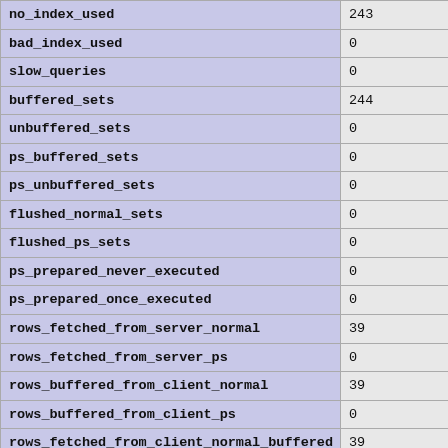| Variable | Value |
| --- | --- |
| no_index_used | 243 |
| bad_index_used | 0 |
| slow_queries | 0 |
| buffered_sets | 244 |
| unbuffered_sets | 0 |
| ps_buffered_sets | 0 |
| ps_unbuffered_sets | 0 |
| flushed_normal_sets | 0 |
| flushed_ps_sets | 0 |
| ps_prepared_never_executed | 0 |
| ps_prepared_once_executed | 0 |
| rows_fetched_from_server_normal | 39 |
| rows_fetched_from_server_ps | 0 |
| rows_buffered_from_client_normal | 39 |
| rows_buffered_from_client_ps | 0 |
| rows_fetched_from_client_normal_buffered | 39 |
| rows_fetched_from_client_normal_unbuffered | 0 |
| rows_fetched_from_client_ps_buffered | 0 |
| rows_fetched_from_client_ps_unbuffered | 0 |
| rows_fetched_from_client_ps_cursor | 0 |